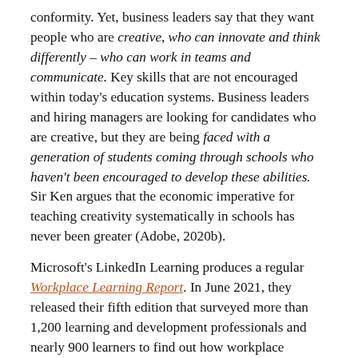conformity. Yet, business leaders say that they want people who are creative, who can innovate and think differently – who can work in teams and communicate. Key skills that are not encouraged within today's education systems. Business leaders and hiring managers are looking for candidates who are creative, but they are being faced with a generation of students coming through schools who haven't been encouraged to develop these abilities. Sir Ken argues that the economic imperative for teaching creativity systematically in schools has never been greater (Adobe, 2020b).
Microsoft's LinkedIn Learning produces a regular Workplace Learning Report. In June 2021, they released their fifth edition that surveyed more than 1,200 learning and development professionals and nearly 900 learners to find out how workplace learning is changing due to the COVID pandemic that has forced lots of changes in the workplace, some say for the better. As a result, skill sets such as resilience and digital fluency are seen as a priority in this new era of hybrid workplace and creativity, as a skill set, is still up there in the top 10 (LinkedIn Learning, 2021).